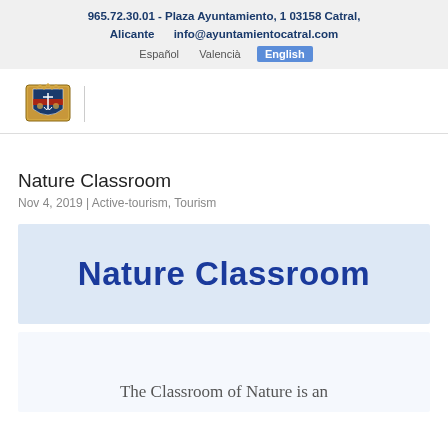965.72.30.01 - Plaza Ayuntamiento, 1 03158 Catral, Alicante    info@ayuntamientocatral.com    Español    Valencià    English
[Figure (logo): Municipal coat of arms / logo of Catral Ayuntamiento]
Nature Classroom
Nov 4, 2019 | Active-tourism, Tourism
[Figure (illustration): Blue banner with cursive text reading 'Nature Classroom']
[Figure (illustration): Light blue card with text 'The Classroom of Nature is an']